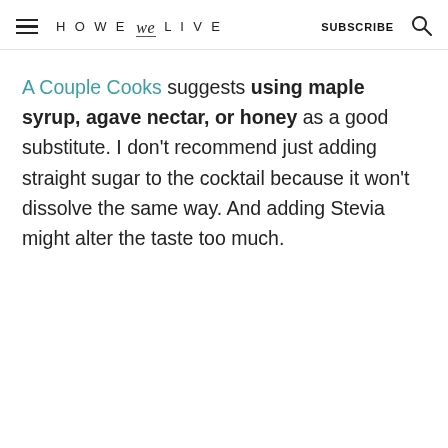HOWE we LIVE  SUBSCRIBE
A Couple Cooks suggests using maple syrup, agave nectar, or honey as a good substitute. I don't recommend just adding straight sugar to the cocktail because it won't dissolve the same way. And adding Stevia might alter the taste too much.